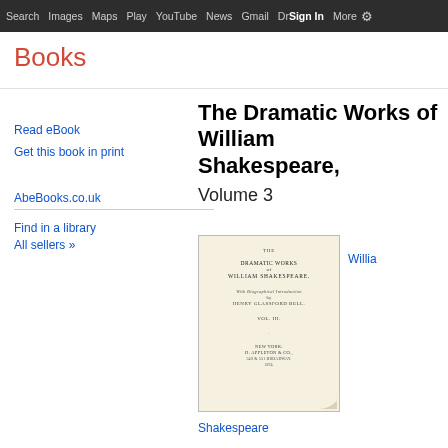Search  Images  Maps  Play  YouTube  News  Gmail  Drive  More  Sign in  ⚙
Books
Read eBook
Get this book in print
AbeBooks.co.uk
Find in a library
All sellers »
The Dramatic Works of William Shakespeare, Volume 3
[Figure (photo): Front cover of 'The Dramatic Works of William Shakespeare' book, showing title page with publisher D. Appleton & Co., New York, with a page curl effect at bottom right corner.]
Willia
Shakespeare